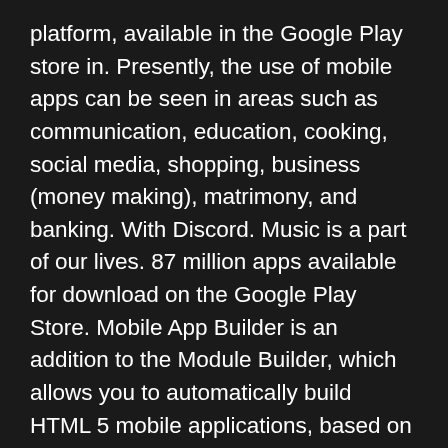platform, available in the Google Play store in. Presently, the use of mobile apps can be seen in areas such as communication, education, cooking, social media, shopping, business (money making), matrimony, and banking. With Discord. Music is a part of our lives. 87 million apps available for download on the Google Play Store. Mobile App Builder is an addition to the Module Builder, which allows you to automatically build HTML 5 mobile applications, based on the dynamic modules and taking advantages of the actual mobile devices and its features. SCAN CODE 27,162 downloads Updated: October 22, 2021 Follow via RSS. On your iPad, tap Insert. Browse thousands of free and paid apps by category, read user reviews, and compare ratings. The description of Tor Browser App. APKPure Uygulamasını Kullanarak. The fastest browsing experience. 0 for Android. 187) and is a